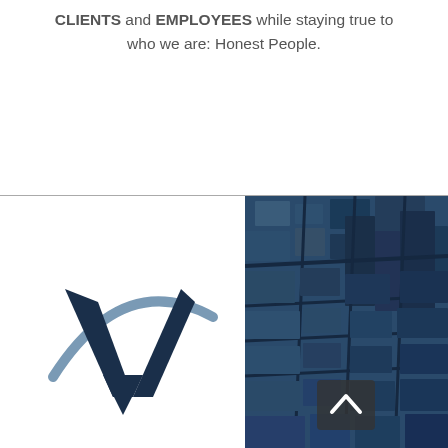CLIENTS and EMPLOYEES while staying true to who we are: Honest People.
[Figure (logo): Company logo: large dark navy V letter with a curved swoosh arc in light steel blue]
[Figure (photo): Aerial view of a city skyline with skyscrapers, tinted in dark navy/blue overlay, with a small upward arrow button in the lower center]